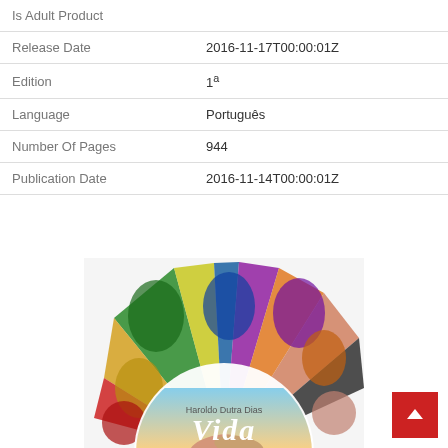| Field | Value |
| --- | --- |
| Is Adult Product |  |
| Release Date | 2016-11-17T00:00:01Z |
| Edition | 1ª |
| Language | Português |
| Number Of Pages | 944 |
| Publication Date | 2016-11-14T00:00:01Z |
[Figure (illustration): Book cover for 'Vida' by Haroldo Dutra Dias, featuring colorful fan-shaped sections with photographs of people of different ages and ethnicities, with a semicircular white area in the center showing the book title 'Vida' in script and the author name.]